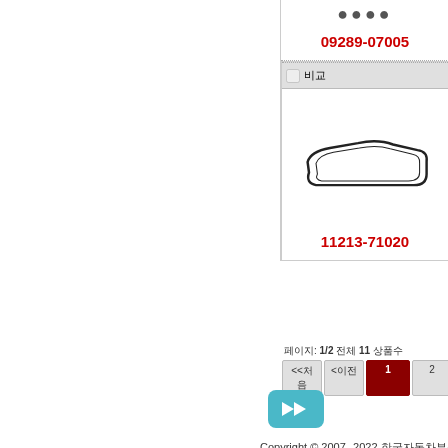[Figure (other): Product catalog card showing part number 09289-07005 with dots at top]
09289-07005
[Figure (photo): Gasket/seal part image - elongated rectangular rubber seal]
11213-71020
페이지: 1/2 전체 11 상품수
<<처음  <이전페이지  1  2  다음페이지>>
[Figure (other): Teal arrow button pointing right]
Copyright © 2007--2022 한국자동차부품
전화번호0319-7595082 팩스번호0319-